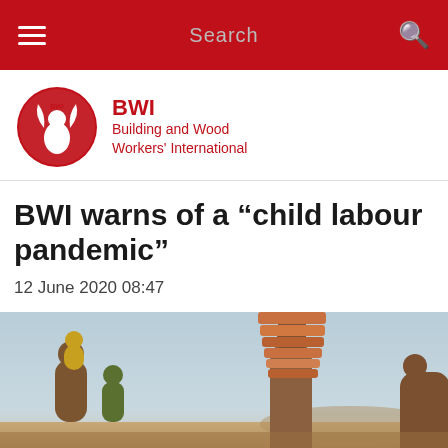Search
[Figure (logo): BWI Building and Wood Workers' International circular red logo with figure and flame design]
BWI warns of a “child labour pandemic”
12 June 2020 08:47
[Figure (photo): Photo of child labourers carrying bricks on their heads at a construction or brick kiln site, with a hazy outdoor background]